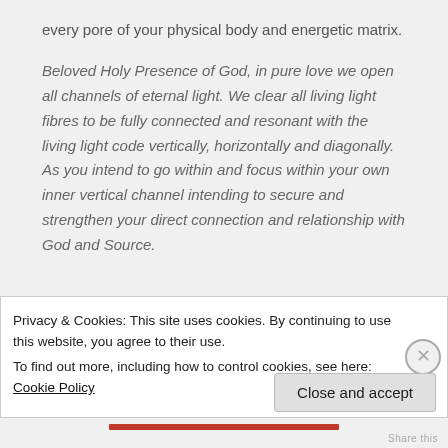every pore of your physical body and energetic matrix.
Beloved Holy Presence of God, in pure love we open all channels of eternal light. We clear all living light fibres to be fully connected and resonant with the living light code vertically, horizontally and diagonally. As you intend to go within and focus within your own inner vertical channel intending to secure and strengthen your direct connection and relationship with God and Source.
Privacy & Cookies: This site uses cookies. By continuing to use this website, you agree to their use.
To find out more, including how to control cookies, see here: Cookie Policy